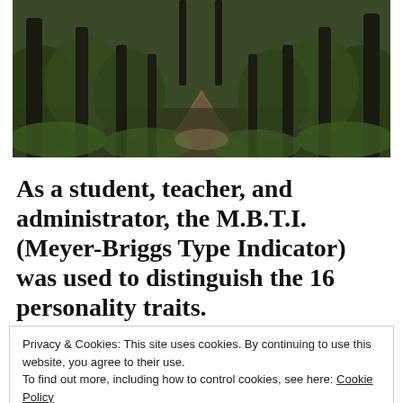[Figure (photo): A forest path winding through tall dark trees with green undergrowth and fallen leaves on the ground, viewed from a slight elevation, dim and atmospheric lighting.]
As a student, teacher, and administrator, the M.B.T.I. (Meyer-Briggs Type Indicator) was used to distinguish the 16 personality traits.
Privacy & Cookies: This site uses cookies. By continuing to use this website, you agree to their use.
To find out more, including how to control cookies, see here: Cookie Policy
Close and accept
how you operate in our world